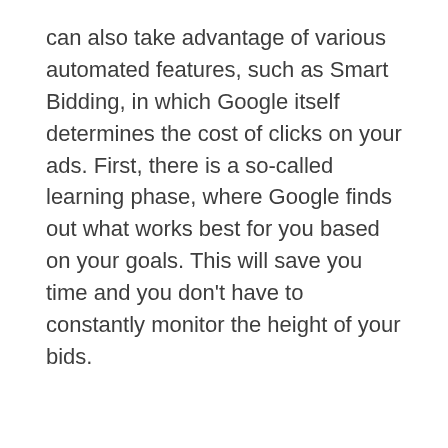can also take advantage of various automated features, such as Smart Bidding, in which Google itself determines the cost of clicks on your ads. First, there is a so-called learning phase, where Google finds out what works best for you based on your goals. This will save you time and you don't have to constantly monitor the height of your bids.
Automated campaign optimization
In addition to the Smart Bidding strategy, Google Ads offers you other features from